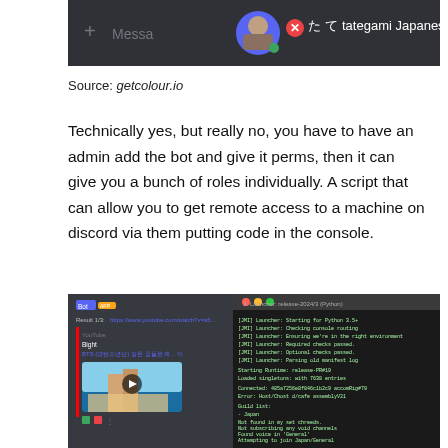[Figure (screenshot): Discord interface screenshot showing a user profile with avatar, name 'tategami Japanese' with Japanese characters, and a message input area with a '+' button and 'Messa' text. Dark theme.]
Source: getcolour.io
Technically yes, but really no, you have to have an admin add the bot and give it perms, then it can give you a bunch of roles individually. A script that can allow you to get remote access to a machine on discord via them putting code in the console.
[Figure (screenshot): Screenshot showing a Discord bot message on the left with a YouTube video result and a terminal/console window on the right showing Python launcher output with various status messages including 'Starting for Python 3.5', checking console, environment checks, and bot connecting to Japan/General channel. Black terminal background with white text.]